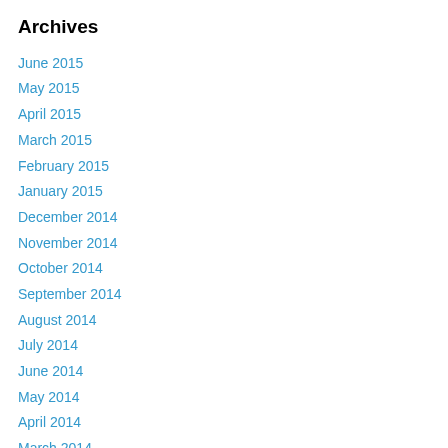Archives
June 2015
May 2015
April 2015
March 2015
February 2015
January 2015
December 2014
November 2014
October 2014
September 2014
August 2014
July 2014
June 2014
May 2014
April 2014
March 2014
February 2014
January 2014